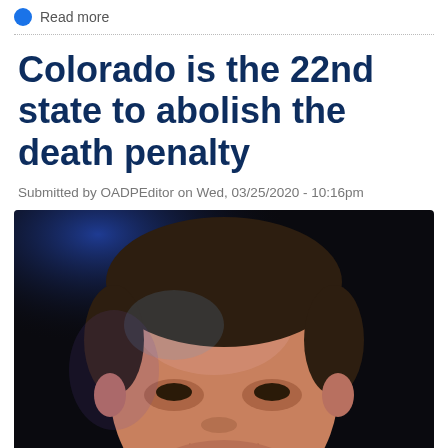Read more
Colorado is the 22nd state to abolish the death penalty
Submitted by OADPEditor on Wed, 03/25/2020 - 10:16pm
[Figure (photo): Close-up photo of a man's face against a dark background with blue lighting, appearing to be Colorado Governor Jared Polis]